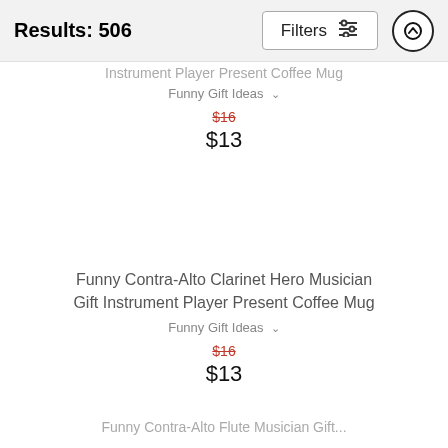Results: 506  Filters
Instrument Player Present Coffee Mug
Funny Gift Ideas
$16
$13
Funny Contra-Alto Clarinet Hero Musician Gift Instrument Player Present Coffee Mug
Funny Gift Ideas
$16
$13
Funny Contra-Alto Flute Musician Gift...